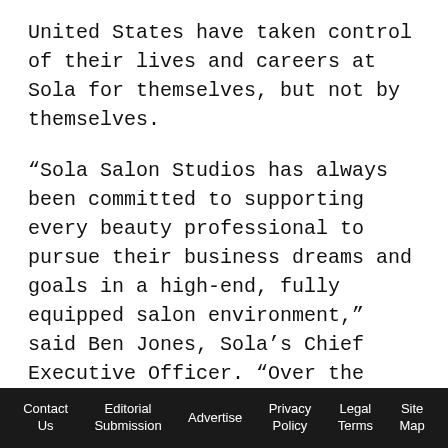United States have taken control of their lives and careers at Sola for themselves, but not by themselves.
“Sola Salon Studios has always been committed to supporting every beauty professional to pursue their business dreams and goals in a high-end, fully equipped salon environment,” said Ben Jones, Sola’s Chief Executive Officer. “Over the last few years we’ve received many inquiries from Canadian hairdressers interested in Sola’s concept, and we feel the time could not be better to expand Sola’s mission to Canada.”
Prior to expansion, it was how Sola has well-document...
Contact Us | Editorial Submission | Advertise | Privacy Policy | Legal Terms | Site Map